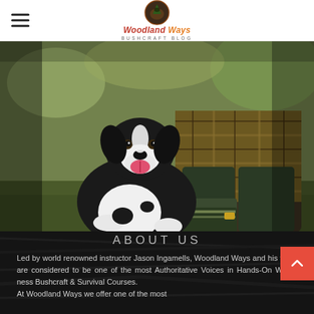Woodland Ways BUSHCRAFT BLOG
[Figure (photo): A black and white border collie dog sitting in front of a person crouching down, wearing a plaid/flannel shirt and camouflage boots, petting the dog outdoors in a natural woodland setting.]
ABOUT US
Led by world renowned instructor Jason Ingamells, Woodland Ways and his team are considered to be one of the most Authoritative Voices in Hands-On Wilderness Bushcraft & Survival Courses.
At Woodland Ways we offer one of the most